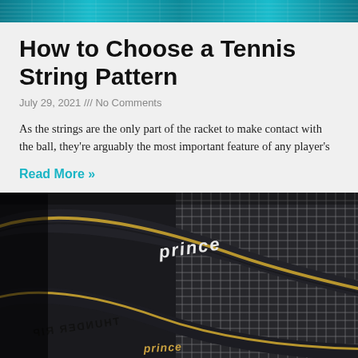[Figure (photo): Top banner image showing tennis rackets with teal/cyan color scheme]
How to Choose a Tennis String Pattern
July 29, 2021 /// No Comments
As the strings are the only part of the racket to make contact with the ball, they're arguably the most important feature of any player's
Read More »
[Figure (photo): Close-up photo of Prince Thunder Rip tennis rackets stacked on top of each other, showing the strings, frame and branding]